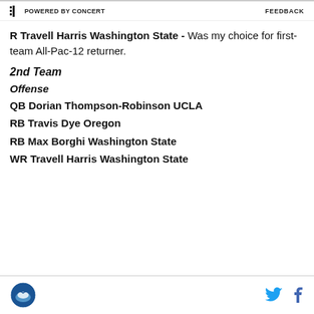POWERED BY CONCERT   FEEDBACK
R Travell Harris Washington State - Was my choice for first-team All-Pac-12 returner.
2nd Team
Offense
QB Dorian Thompson-Robinson UCLA
RB Travis Dye Oregon
RB Max Borghi Washington State
WR Travell Harris Washington State
Logo | Twitter | Facebook